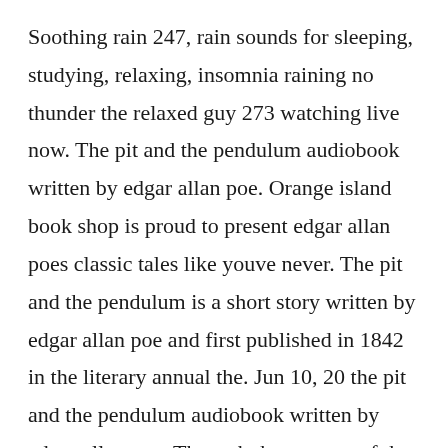Soothing rain 247, rain sounds for sleeping, studying, relaxing, insomnia raining no thunder the relaxed guy 273 watching live now. The pit and the pendulum audiobook written by edgar allan poe. Orange island book shop is proud to present edgar allan poes classic tales like youve never. The pit and the pendulum is a short story written by edgar allan poe and first published in 1842 in the literary annual the. Jun 10, 20 the pit and the pendulum audiobook written by edgar allan poe. Through the tortures of the spanish inquisition, we follow the straying mind of the